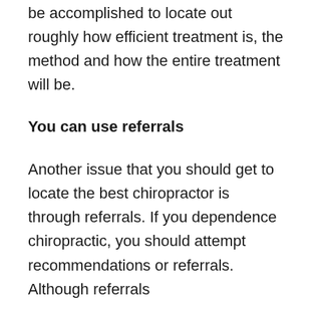be accomplished to locate out roughly how efficient treatment is, the method and how the entire treatment will be.
You can use referrals
Another issue that you should get to locate the best chiropractor is through referrals. If you dependence chiropractic, you should attempt recommendations or referrals. Although referrals